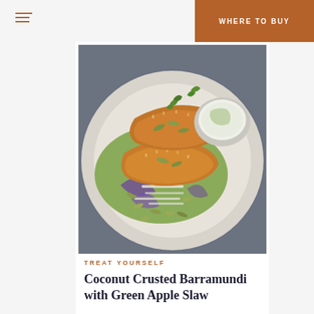WHERE TO BUY
[Figure (photo): A white plate with coconut crusted barramundi fish fillets topped with pumpkin seeds and herbs, served on a bed of green apple and purple cabbage slaw, with a small bowl of white dipping sauce on the side. Plated on a grey surface.]
TREAT YOURSELF
Coconut Crusted Barramundi with Green Apple Slaw